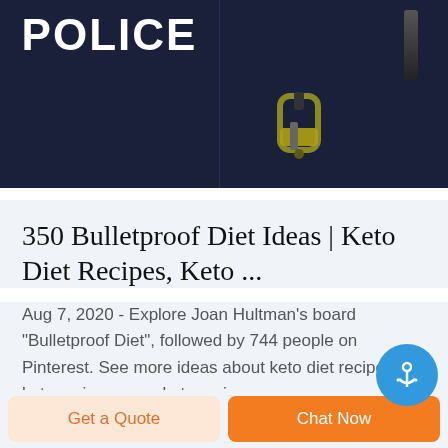[Figure (photo): Two navy/dark blue police tactical panels side by side. Left panel shows 'POLICE' text in large white bold letters. Right panel shows tactical gear accessories including a black cylinder and an olive/yellow buckle clip.]
350 Bulletproof Diet Ideas | Keto Diet Recipes, Keto ...
Aug 7, 2020 - Explore Joan Hultman's board "Bulletproof Diet", followed by 744 people on Pinterest. See more ideas about keto diet recipes, keto recipes easy, keto recipes.